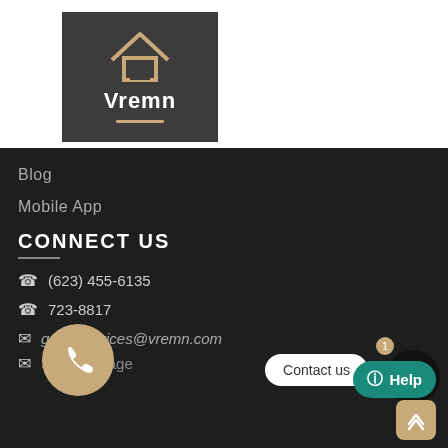[Figure (logo): Vremn company logo: dark grey square with house outline icon in tan/gold color above the word Vremn in white bold text, with a small tan underline.]
Blog
Mobile App
CONNECT US
(623) 455-6135
723-8817
guestservices@vremn.com
Support Page